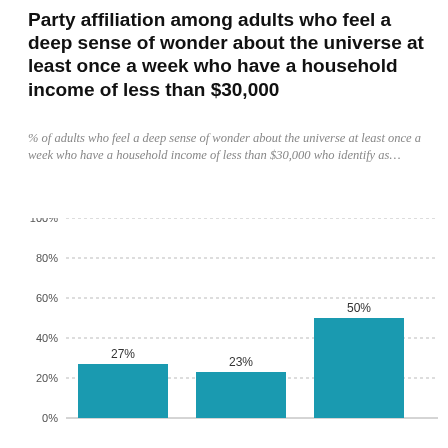Party affiliation among adults who feel a deep sense of wonder about the universe at least once a week who have a household income of less than $30,000
% of adults who feel a deep sense of wonder about the universe at least once a week who have a household income of less than $30,000 who identify as…
[Figure (bar-chart): Party affiliation among adults who feel a deep sense of wonder about the universe at least once a week who have a household income of less than $30,000]